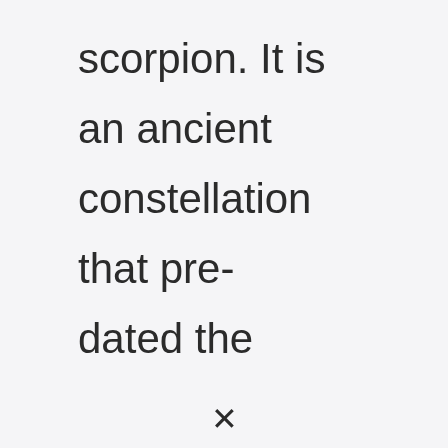scorpion. It is an ancient constellation that pre-dated the